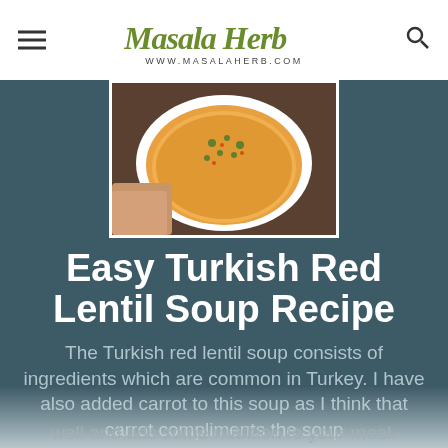Masala Herb — www.MasalaHerb.com
[Figure (photo): Top-down view of a bowl of Turkish red lentil soup garnished with herbs and red pepper flakes, held by a hand against a dark wooden background]
Easy Turkish Red Lentil Soup Recipe
The Turkish red lentil soup consists of ingredients which are common in Turkey. I have also added carrot to this soup as I think that carrot compliments the soup well and ads some nutrition to your meal.